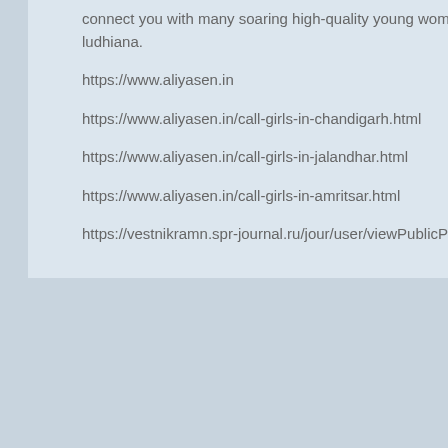connect you with many soaring high-quality young women and men found all over ludhiana.
https://www.aliyasen.in
https://www.aliyasen.in/call-girls-in-chandigarh.html
https://www.aliyasen.in/call-girls-in-jalandhar.html
https://www.aliyasen.in/call-girls-in-amritsar.html
https://vestnikramn.spr-journal.ru/jour/user/viewPublicProfile/10
FrankJScott
[Figure (illustration): User avatar placeholder showing a generic grey silhouette/avatar icon on a light grey background]